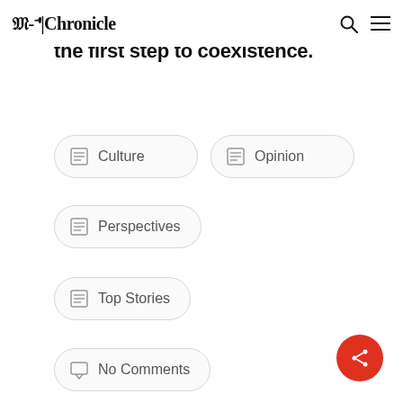M-A | Chronicle
the first step to coexistence.
Culture
Opinion
Perspectives
Top Stories
No Comments